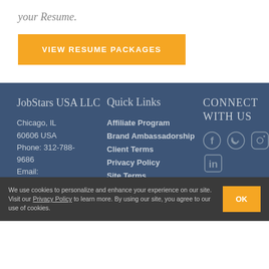your Resume.
VIEW RESUME PACKAGES
JobStars USA LLC
Chicago, IL 60606 USA Phone: 312-788-9686 Email:
Quick Links
Affiliate Program
Brand Ambassadorship
Client Terms
Privacy Policy
Site Terms
CONNECT WITH US
We use cookies to personalize and enhance your experience on our site. Visit our Privacy Policy to learn more. By using our site, you agree to our use of cookies.